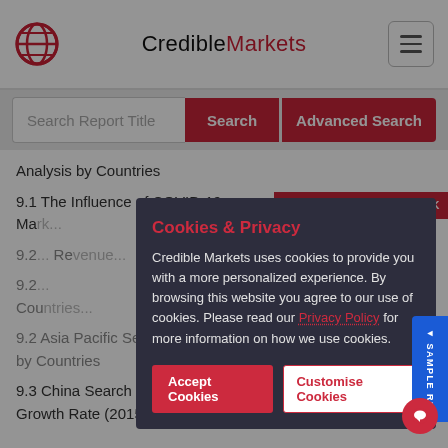CredibleMarkets
Search Report Title | Search | Advanced Search
Analysis by Countries
9.1 The Influence of COVID-19 on Ma...
9.2... Re...
9.2... by Countries
9.2 Asia Pacific Search Engine Marketing Revenue by Countries
9.3 China Search Engine Marketing Sales and Growth Rate (2015-2020)
Cookies & Privacy

Credible Markets uses cookies to provide you with a more personalized experience. By browsing this website you agree to our use of cookies. Please read our Privacy Policy for more information on how we use cookies.

Accept Cookies | Customise Cookies